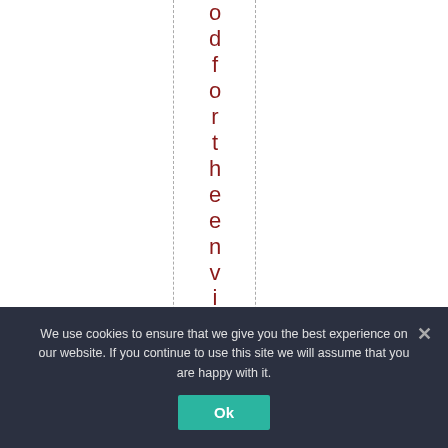odforthenvironment
We use cookies to ensure that we give you the best experience on our website. If you continue to use this site we will assume that you are happy with it. Ok